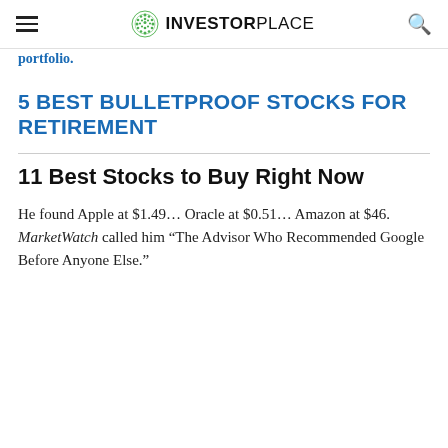INVESTORPLACE
portfolio.
5 BEST BULLETPROOF STOCKS FOR RETIREMENT
11 Best Stocks to Buy Right Now
He found Apple at $1.49… Oracle at $0.51… Amazon at $46. MarketWatch called him “The Advisor Who Recommended Google Before Anyone Else.”